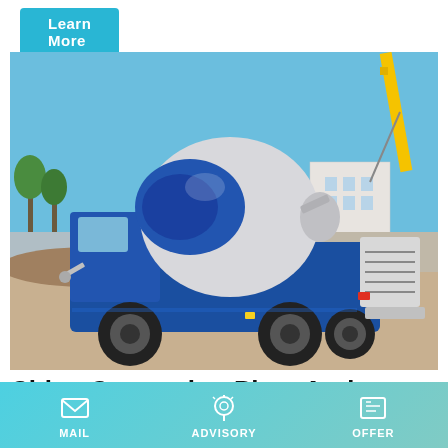Learn More
[Figure (photo): A blue self-loading concrete mixer truck on a construction site with sandy ground, a yellow crane arm visible in the background, trees and white buildings in the distance under a blue sky.]
China Concreting Plant And Equipment Cost
China Stationary Concrete Batching Plant catalog of Hzs25
MAIL   ADVISORY   OFFER